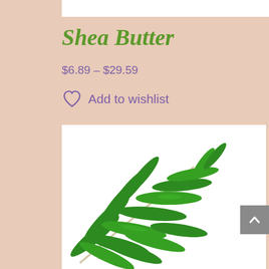Shea Butter
$6.89 – $29.59
Add to wishlist
[Figure (photo): A green tropical palm leaf branch with multiple elongated leaves on a white background, product image for Shea Butter listing]